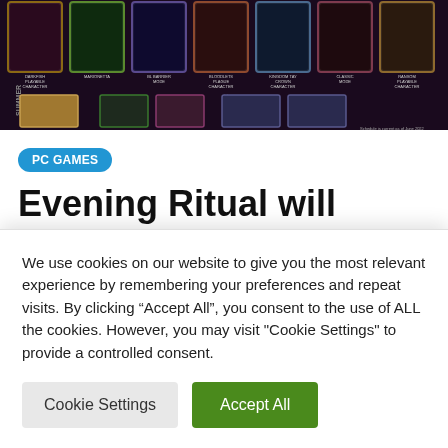[Figure (screenshot): Screenshot of a fighting game content roadmap showing character portraits and game modes arranged in rows with labels like SUMMER, FALL, WINTER, and various DLC content descriptions]
PC GAMES
Evening Ritual will get new
We use cookies on our website to give you the most relevant experience by remembering your preferences and repeat visits. By clicking “Accept All”, you consent to the use of ALL the cookies. However, you may visit "Cookie Settings" to provide a controlled consent.
Cookie Settings | Accept All